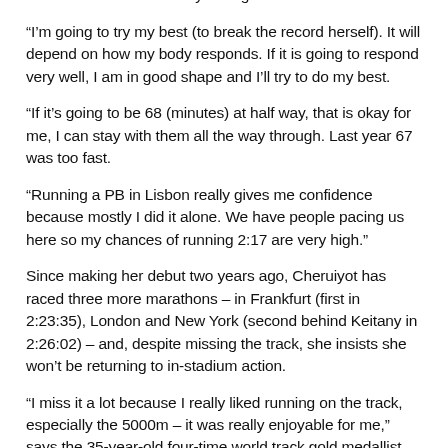be broken) on Sunday if the weather is good because I know the athletes are very strong.
“I’m going to try my best (to break the record herself). It will depend on how my body responds. If it is going to respond very well, I am in good shape and I’ll try to do my best.
“If it’s going to be 68 (minutes) at half way, that is okay for me, I can stay with them all the way through. Last year 67 was too fast.
“Running a PB in Lisbon really gives me confidence because mostly I did it alone. We have people pacing us here so my chances of running 2:17 are very high.”
Since making her debut two years ago, Cheruiyot has raced three more marathons – in Frankfurt (first in 2:23:35), London and New York (second behind Keitany in 2:26:02) – and, despite missing the track, she insists she won’t be returning to in-stadium action.
“I miss it a lot because I really liked running on the track, especially the 5000m – it was really enjoyable for me,” says the 35-year-old four-time world track gold medallist.
“We used to go for 40 minutes, one hour training (for the track), but now you have to do 40km for training – it’s very hard.
“When I started training for the marathon I thought I’ll enjoy it...